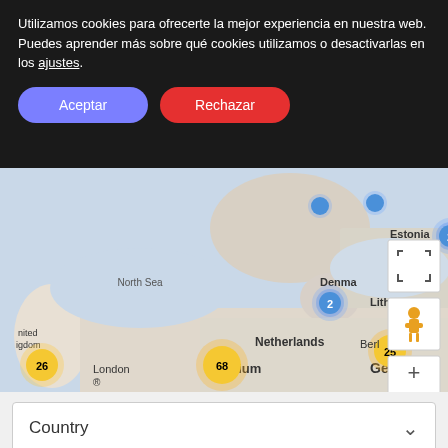Utilizamos cookies para ofrecerte la mejor experiencia en nuestra web. Puedes aprender más sobre qué cookies utilizamos o desactivarlas en los ajustes.
Aceptar
Rechazar
[Figure (map): Google Maps view of Northern/Central Europe showing clustered markers. Blue clusters: 2 near Baltic Sea, 2 near Denmark, 4 near Warsaw. Yellow/gold clusters: 26 near London, 68 near Netherlands, 25 near Berlin. Map labels include North Sea, Baltic Sea, Estonia, Latvia, Lithuania, Poland, Belarus, Germany, Czechia, Belgium, France regions, Denmark. Google logo and Map data ©2022 Google, Terms of Use footers. Map controls: fullscreen, street view, zoom in (+), zoom out (-).]
Country